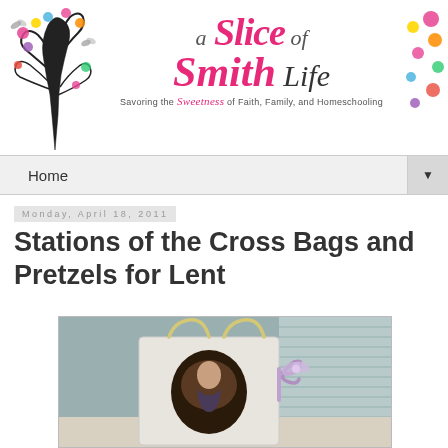[Figure (logo): Blog header with decorative tree illustration on the left, colorful flower/dot decorations on the right, and blog title 'a Slice of Smith Life' in pink cursive script in the center, with subtitle 'Savoring the Sweetness of Faith, Family, and Homeschooling']
Home ▼
Monday, April 18, 2011
Stations of the Cross Bags and Pretzels for Lent
[Figure (photo): Photo of a white paper gift bag with rope handles and a purple/lavender ribbon, containing what appears to be a religious image or card, placed on a light surface]